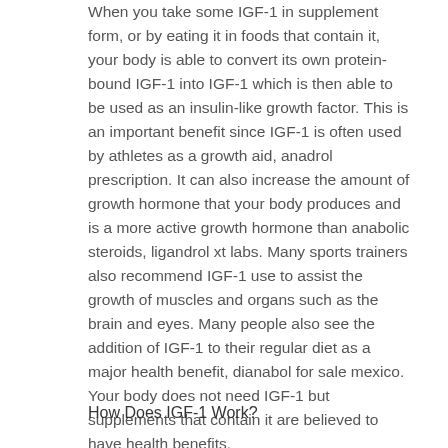When you take some IGF-1 in supplement form, or by eating it in foods that contain it, your body is able to convert its own protein-bound IGF-1 into IGF-1 which is then able to be used as an insulin-like growth factor. This is an important benefit since IGF-1 is often used by athletes as a growth aid, anadrol prescription. It can also increase the amount of growth hormone that your body produces and is a more active growth hormone than anabolic steroids, ligandrol xt labs. Many sports trainers also recommend IGF-1 use to assist the growth of muscles and organs such as the brain and eyes. Many people also see the addition of IGF-1 to their regular diet as a major health benefit, dianabol for sale mexico. Your body does not need IGF-1 but supplements that contain it are believed to have health benefits.
How Does IGF-1 Work?